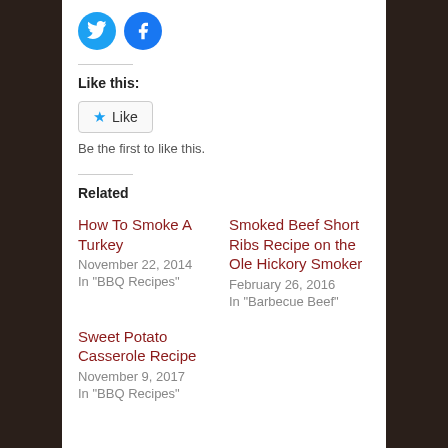[Figure (logo): Twitter and Facebook circular social share buttons in blue]
Like this:
[Figure (other): Like button with star icon]
Be the first to like this.
Related
How To Smoke A Turkey
November 22, 2014
In "BBQ Recipes"
Smoked Beef Short Ribs Recipe on the Ole Hickory Smoker
February 26, 2016
In "Barbecue Beef"
Sweet Potato Casserole Recipe
November 9, 2017
In "BBQ Recipes"